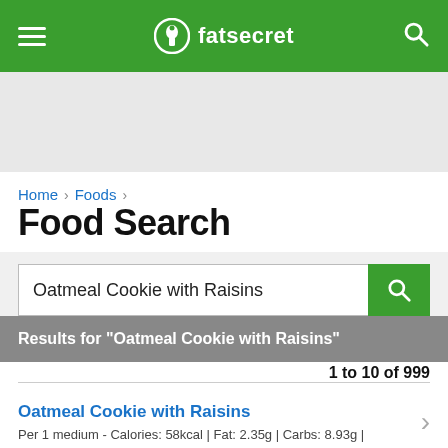fatsecret
[Figure (screenshot): Gray advertisement banner area]
Home › Foods ›
Food Search
Oatmeal Cookie with Raisins
Results for "Oatmeal Cookie with Raisins"
1 to 10 of 999
Oatmeal Cookie with Raisins
Per 1 medium - Calories: 58kcal | Fat: 2.35g | Carbs: 8.93g | Protein: 0....
Other sizes: 1 small - 32kcal, 1 big - 135kcal, 1 Pepperidge Farm Cook